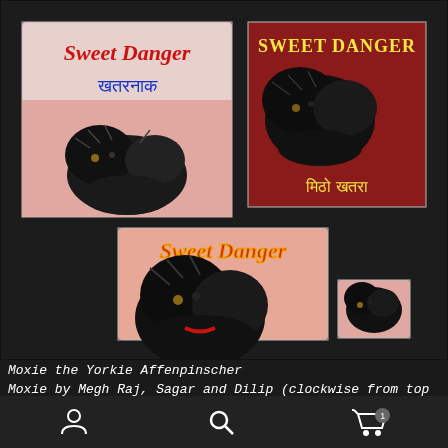[Figure (photo): Photo showing multiple hand-painted folk art style paintings of a Yorkie Affenpinscher dog named Moxie. Three larger tiles and one small tile are arranged on a dark wooden surface. Each painting shows the dog with text 'Sweet Danger' in English and Nepali/Hindi script. Top left tile has pink background with red text 'Sweet Danger' and blue Devanagari text. Top right tile has dark red background with yellow 'Sweet Danger' text and Devanagari text 'मिठो खतरा'. Bottom center tile has salmon/pink background with stylized orange 'Sweet Danger' title. Small tile bottom right shows a close-up portrait of the dog.]
Moxie the Yorkie Affenpinscher
Moxie by Megh Raj, Sagar and Dilip (clockwise from top left).